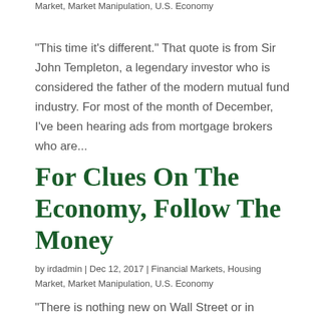Market, Market Manipulation, U.S. Economy
“This time it’s different.” That quote is from Sir John Templeton, a legendary investor who is considered the father of the modern mutual fund industry. For most of the month of December, I’ve been hearing ads from mortgage brokers who are...
For Clues On The Economy, Follow The Money
by irdadmin | Dec 12, 2017 | Financial Markets, Housing Market, Market Manipulation, U.S. Economy
“There is nothing new on Wall Street or in stock...